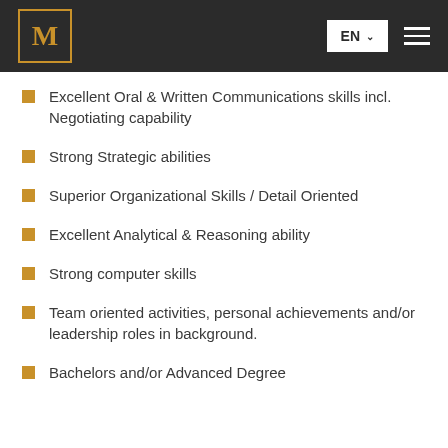M | EN | Navigation
Excellent Oral & Written Communications skills incl. Negotiating capability
Strong Strategic abilities
Superior Organizational Skills / Detail Oriented
Excellent Analytical & Reasoning ability
Strong computer skills
Team oriented activities, personal achievements and/or leadership roles in background.
Bachelors and/or Advanced Degree